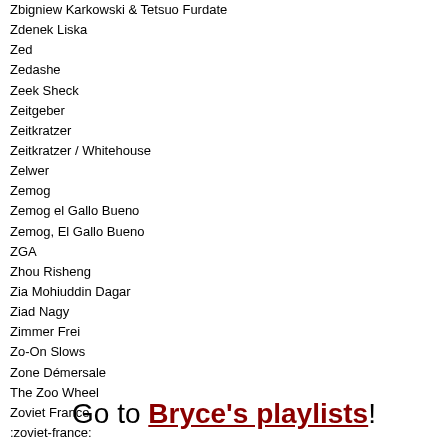Zbigniew Karkowski & Tetsuo Furdate
Zdenek Liska
Zed
Zedashe
Zeek Sheck
Zeitgeber
Zeitkratzer
Zeitkratzer / Whitehouse
Zelwer
Zemog
Zemog el Gallo Bueno
Zemog, El Gallo Bueno
ZGA
Zhou Risheng
Zia Mohiuddin Dagar
Ziad Nagy
Zimmer Frei
Zo-On Slows
Zone Démersale
The Zoo Wheel
Zoviet France
:zoviet-france:
Zoviet-France
Zu
Zweistein
Zwitscher-Maschine
Zwitschermaschine
Zygmunt Krauze
ZZZZ
Go to Bryce's playlists!